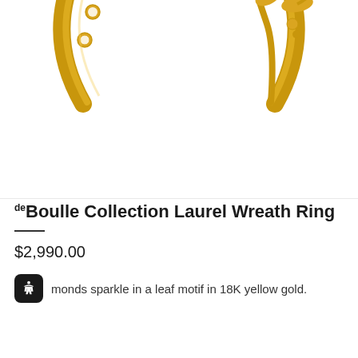[Figure (photo): Close-up photograph of a gold laurel wreath ring with diamond-set leaf motifs in 18K yellow gold, shown on white background, cropped at top showing the lower portion of the ring]
deBoulle Collection Laurel Wreath Ring
$2,990.00
monds sparkle in a leaf motif in 18K yellow gold.